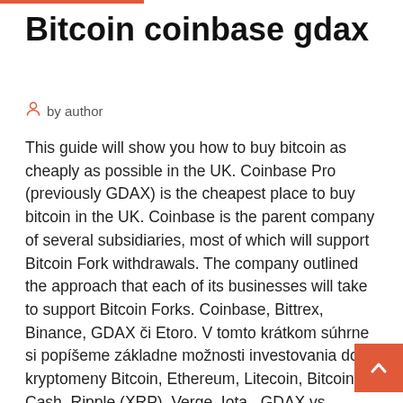Bitcoin coinbase gdax
by author
This guide will show you how to buy bitcoin as cheaply as possible in the UK. Coinbase Pro (previously GDAX) is the cheapest place to buy bitcoin in the UK. Coinbase is the parent company of several subsidiaries, most of which will support Bitcoin Fork withdrawals. The company outlined the approach that each of its businesses will take to support Bitcoin Forks. Coinbase, Bittrex, Binance, GDAX či Etoro. V tomto krátkom súhrne si popíšeme základne možnosti investovania do kryptomeny Bitcoin, Ethereum, Litecoin, Bitcoin Cash, Ripple (XRP), Verge, Iota,..GDAX vs Coinbase Exchange Comparison - Unhashedhttps://unhashed.com/exchange-comparisons/gdax-vs-coinbaseWhat's the Connection between GDAX and Coinbase Before diving into the nitty-gritty of our GDAX vs Coinbase comparison, you should first know that these two websites are owned by the same company.